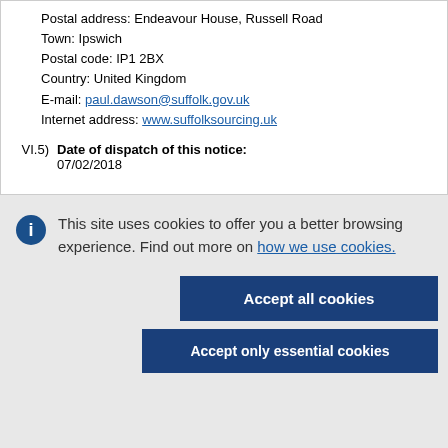Postal address: Endeavour House, Russell Road
Town: Ipswich
Postal code: IP1 2BX
Country: United Kingdom
E-mail: paul.dawson@suffolk.gov.uk
Internet address: www.suffolksourcing.uk
VI.5) Date of dispatch of this notice:
07/02/2018
This site uses cookies to offer you a better browsing experience. Find out more on how we use cookies.
Accept all cookies
Accept only essential cookies